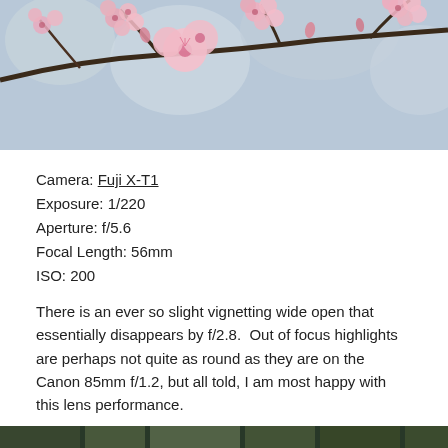[Figure (photo): Close-up photograph of pink cherry blossom flowers on branches against a soft blurred background, cropped at top of page]
Camera: Fuji X-T1
Exposure: 1/220
Aperture: f/5.6
Focal Length: 56mm
ISO: 200
There is an ever so slight vignetting wide open that essentially disappears by f/2.8.  Out of focus highlights are perhaps not quite as round as they are on the Canon 85mm f/1.2, but all told, I am most happy with this lens performance.
[Figure (photo): Partial view of a photograph at the bottom of the page, appears to show an outdoor/nature scene, cropped at bottom edge]